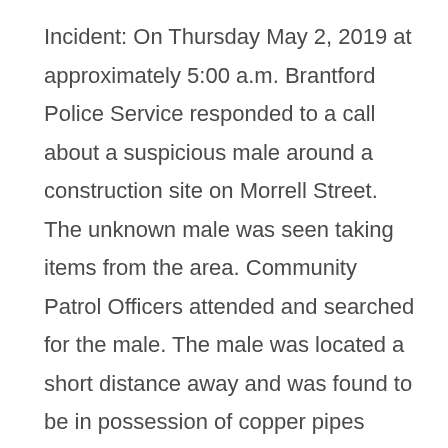Incident:  On Thursday May 2, 2019 at approximately 5:00 a.m. Brantford Police Service responded to a call about a suspicious male around a construction site on Morrell Street.  The unknown male was seen taking items from the area.  Community Patrol Officers attended and searched for the male.  The male was located a short distance away and was found to be in possession of copper pipes stolen from the construction site.  A 35 year old Brantford male has been charged with Theft Under $5000 and Possession of Stolen Property Under $5000 under the